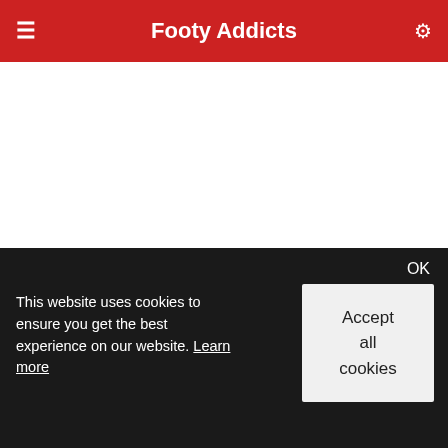Footy Addicts
bilao / Forward
joshunderwood / Forward
juanm99 / Midfielder
liam75g
oioioioi
kostadis-gkortsilas
khalid1100
reeceman
This website uses cookies to ensure you get the best experience on our website. Learn more
OK
Accept all cookies